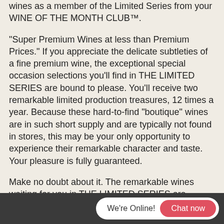wines as a member of the Limited Series from your WINE OF THE MONTH CLUB™.
"Super Premium Wines at less than Premium Prices." If you appreciate the delicate subtleties of a fine premium wine, the exceptional special occasion selections you'll find in THE LIMITED SERIES are bound to please. You'll receive two remarkable limited production treasures, 12 times a year. Because these hard-to-find "boutique" wines are in such short supply and are typically not found in stores, this may be your only opportunity to experience their remarkable character and taste. Your pleasure is fully guaranteed.
Make no doubt about it. The remarkable wines waiting for you in THE LIMITED SERIES are exceptional by anyone's standards.
We're Online! Chat now